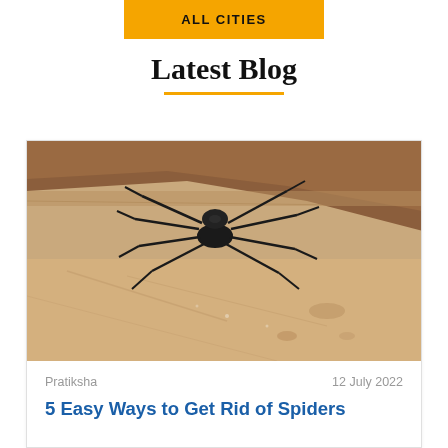ALL CITIES
Latest Blog
[Figure (photo): Close-up photograph of a large dark spider with long legs resting on light-colored wooden planks, with a brown cardboard edge visible in the upper portion of the image.]
Pratiksha          12 July 2022
5 Easy Ways to Get Rid of Spiders